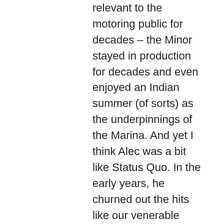relevant to the motoring public for decades – the Minor stayed in production for decades and even enjoyed an Indian summer (of sorts) as the underpinnings of the Marina. And yet I think Alec was a bit like Status Quo. In the early years, he churned out the hits like our venerable rockers. The trouble is, he didn't know when to stop – and nobody stopped him. His early cars were so successful that those around him gave him a little too much rope and he succumbed to the law of diminishing returns. The 1800 was dismal, a great barge with more space than anyone frankly needed – at the expense of truly uninspiring looks. The Maxi was a clever idea executed without concern